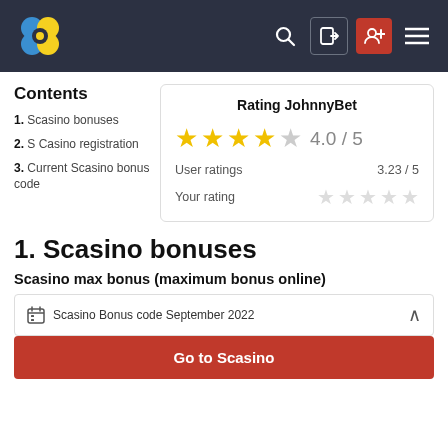Navigation bar with clover logo, search, login, add user, and menu icons
Contents
1. Scasino bonuses
2. S Casino registration
3. Current Scasino bonus code
[Figure (infographic): Rating JohnnyBet card showing 4 gold stars and 1 gray star, score 4.0/5, User ratings 3.23/5, and Your rating with 5 empty gray stars]
1. Scasino bonuses
Scasino max bonus (maximum bonus online)
Scasino Bonus code September 2022
Go to Scasino